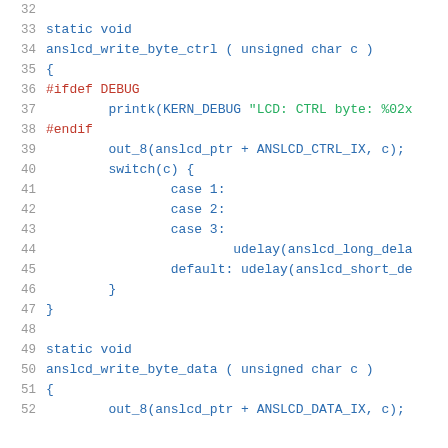Source code listing lines 32-52 showing anslcd_write_byte_ctrl and anslcd_write_byte_data functions in C with line numbers, preprocessor directives, switch statement, and function calls.